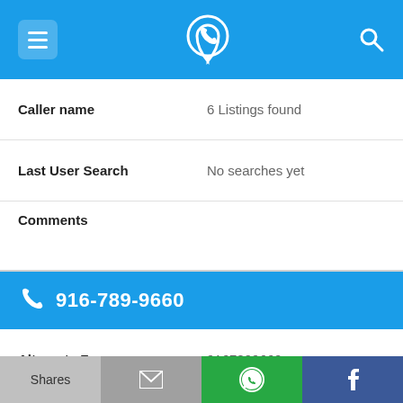916-789-9660 phone lookup app header with menu, logo, and search icons
| Field | Value |
| --- | --- |
| Caller name | 6 Listings found |
| Last User Search | No searches yet |
| Comments |  |
916-789-9660
| Field | Value |
| --- | --- |
| Alternate Form | 9167899660 |
| Caller name | 5 Listings found |
| Last User Search | No searches yet |
Shares | Email | WhatsApp | Facebook